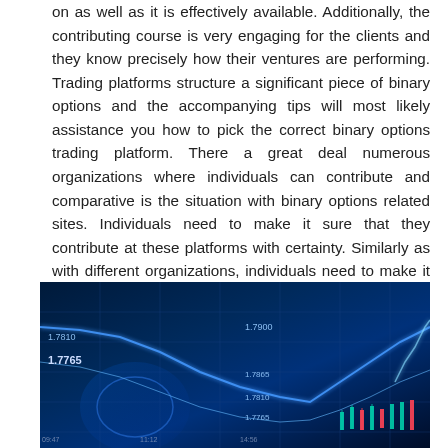on as well as it is effectively available. Additionally, the contributing course is very engaging for the clients and they know precisely how their ventures are performing. Trading platforms structure a significant piece of binary options and the accompanying tips will most likely assistance you how to pick the correct binary options trading platform. There a great deal numerous organizations where individuals can contribute and comparative is the situation with binary options related sites. Individuals need to make it sure that they contribute at these platforms with certainty. Similarly as with different organizations, individuals need to make it sure that they increase a great deal of understanding before heading towards computerized options related platforms.
[Figure (photo): A financial trading screen showing candlestick chart and price data with values like 1.7810, 1.7765, 1.7900, 1.7865, 1.7810, 1.7765, displayed on a dark blue glowing background with grid lines]